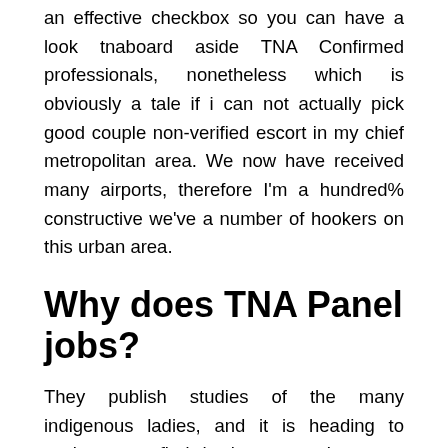an effective checkbox so you can have a look tnaboard aside TNA Confirmed professionals, nonetheless which is obviously a tale if i can not actually pick good couple non-verified escort in my chief metropolitan area. We now have received many airports, therefore I'm a hundred% constructive we've a number of hookers on this urban area.
Why does TNA Panel jobs?
They publish studies of the many indigenous ladies, and it is heading to assist you to find the best ones. I suggest that you take time to select myself; I'm compelling, an extremely pleasant female, well-mannered, polite and you will securely traveled, knowledgeable, with a beneficial conversations, classification and you may discretion. It supplies high-quality businesses for all who require to pay an enjoyable experience otherwise give their people, or